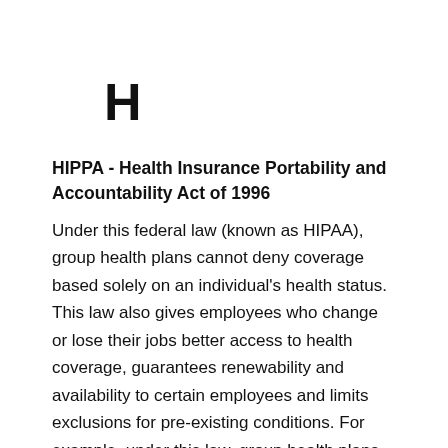H
HIPPA - Health Insurance Portability and Accountability Act of 1996
Under this federal law (known as HIPAA), group health plans cannot deny coverage based solely on an individual's health status. This law also gives employees who change or lose their jobs better access to health coverage, guarantees renewability and availability to certain employees and limits exclusions for pre-existing conditions. For example, under this law, group health plans must credit any employee the amount of time that they spent on any health plan prior to the new plan, which is